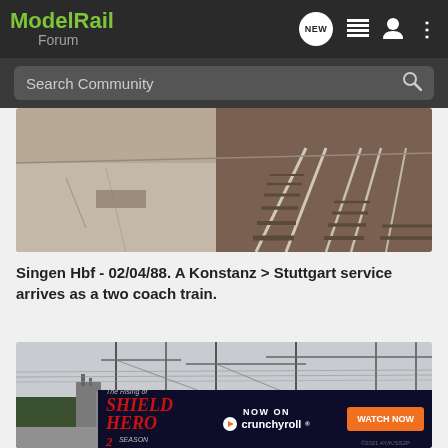Model Rail Forum
Search Community
[Figure (photo): Black and white/sepia photo of a train station platform with railway tracks and sleepers visible, taken from a low angle perspective.]
Singen Hbf - 02/04/88. A Konstanz > Stuttgart service arrives as a two coach train.
[Figure (photo): Photo of a railway station with overhead electric wires and gantries, overcast sky, with a Crunchyroll advertisement overlay for 'The Rising of Shield Hero 2' TV series.]